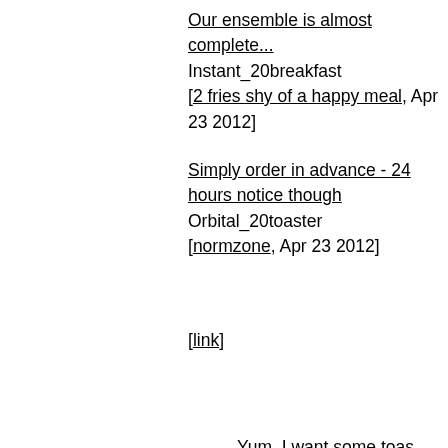Our ensemble is almost complete... Instant_20breakfast [2 fries shy of a happy meal, Apr 23 2012]
Simply order in advance - 24 hours notice though Orbital_20toaster [normzone, Apr 23 2012]
[link]
Yum, I want some toas. —blissmiss, Apr 23 2012
What are you talking about? I ne make typos! —DIYMatt, Apr
I'm not really sure this would wor unless you want your toast only t browned on a terribly thin layer, toasted on the inside and burned ashes on the outside, making it r really toast at all except by the m pedantic definitions. —Hive_Mind, Apr